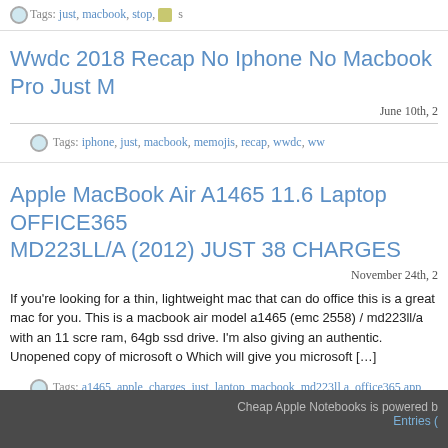Tags: just, macbook, stop,
Wwdc 2018 Recap No Iphone No Macbook Pro Just M
June 10th, 2
Tags: iphone, just, macbook, memojis, recap, wwdc, www
Apple MacBook Air A1465 11.6 Laptop OFFICE365 MD223LL/A (2012) JUST 38 CHARGES
November 24th, 2
If you're looking for a thin, lightweight mac that can do office this is a great mac for you. This is a macbook air model a1465 (emc 2558) / md223ll/a with an 11 screen ram, 64gb ssd drive. I'm also giving an authentic. Unopened copy of microsoft o Which will give you microsoft […]
Tags: a1465, apple, charges, just, laptop, macbook, md223ll a, office365 app
Cheap Apple Notebooks is powered b Entries (